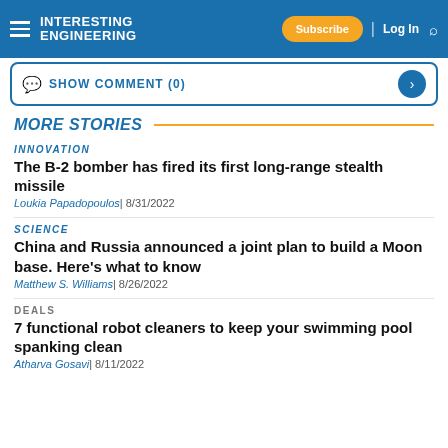Interesting Engineering | Subscribe | Log In
SHOW COMMENT (0)
MORE STORIES
INNOVATION
The B-2 bomber has fired its first long-range stealth missile
Loukia Papadopoulos| 8/31/2022
SCIENCE
China and Russia announced a joint plan to build a Moon base. Here's what to know
Matthew S. Williams| 8/26/2022
DEALS
7 functional robot cleaners to keep your swimming pool spanking clean
Atharva Gosavi| 8/11/2022